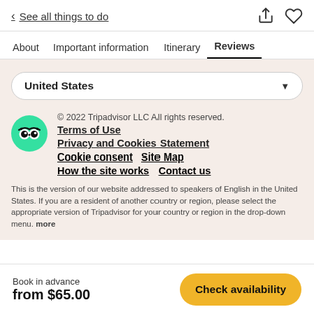< See all things to do
About  Important information  Itinerary  Reviews
United States
© 2022 Tripadvisor LLC All rights reserved.
Terms of Use
Privacy and Cookies Statement
Cookie consent   Site Map
How the site works   Contact us
This is the version of our website addressed to speakers of English in the United States. If you are a resident of another country or region, please select the appropriate version of Tripadvisor for your country or region in the drop-down menu. more
Book in advance
from $65.00